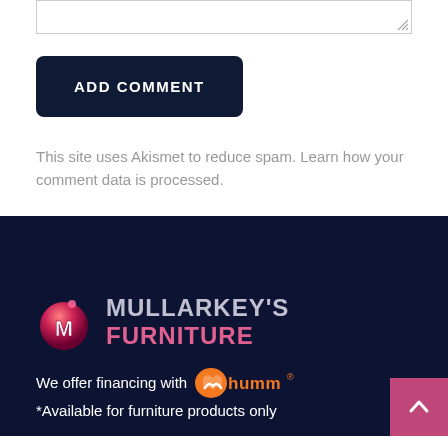[Figure (other): Textarea input box with resize handle in bottom right corner]
ADD COMMENT
This site uses Akismet to reduce spam. Learn how your comment data is processed.
[Figure (logo): Mullarkey's Furniture logo with stylized M icon and company name]
We offer financing with humm®
*Available for furniture products only